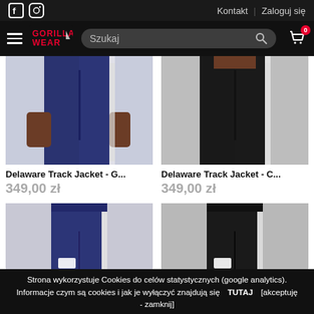Kontakt | Zaloguj się
[Figure (screenshot): Gorilla Wear e-commerce website navigation bar with hamburger menu, logo, search bar, and cart icon]
[Figure (photo): Delaware Track Jacket in navy blue colorway, showing torso and legs of male model]
Delaware Track Jacket - G...
349,00 zł
[Figure (photo): Delaware Track Jacket in black colorway, showing torso and legs of male model]
Delaware Track Jacket - C...
349,00 zł
[Figure (photo): Navy blue track pants partially visible at bottom of page]
[Figure (photo): Black track pants partially visible at bottom of page]
Strona wykorzystuje Cookies do celów statystycznych (google analytics). Informacje czym są cookies i jak je wyłączyć znajdują się TUTAJ [akceptuję - zamknij]